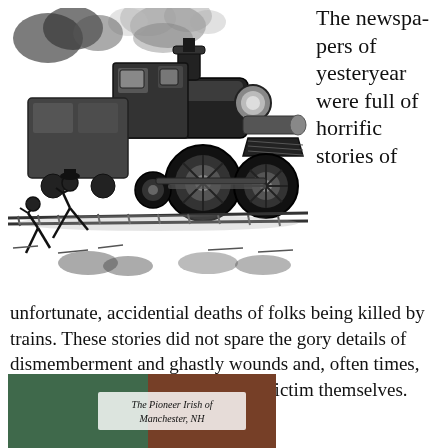[Figure (illustration): Black and white engraving of a steam locomotive coming at the viewer, with a figure being knocked aside on the tracks. Smoke billows from the engine. Several train cars are visible behind.]
The newspapers of yesteryear were full of horrific stories of unfortunate, accidential deaths of folks being killed by trains. These stories did not spare the gory details of dismemberment and ghastly wounds and, often times, didn't hesitate to cast fault on the victim themselves.
[Figure (photo): Partial view of a book cover titled 'The Pioneer Irish of Manchester, NH' with a background showing a green and reddish-brown image.]